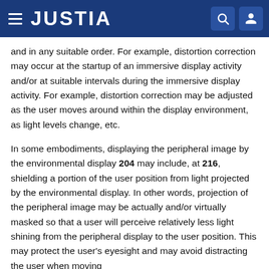JUSTIA
and in any suitable order. For example, distortion correction may occur at the startup of an immersive display activity and/or at suitable intervals during the immersive display activity. For example, distortion correction may be adjusted as the user moves around within the display environment, as light levels change, etc.
In some embodiments, displaying the peripheral image by the environmental display 204 may include, at 216, shielding a portion of the user position from light projected by the environmental display. In other words, projection of the peripheral image may be actually and/or virtually masked so that a user will perceive relatively less light shining from the peripheral display to the user position. This may protect the user's eyesight and may avoid distracting the user when moving